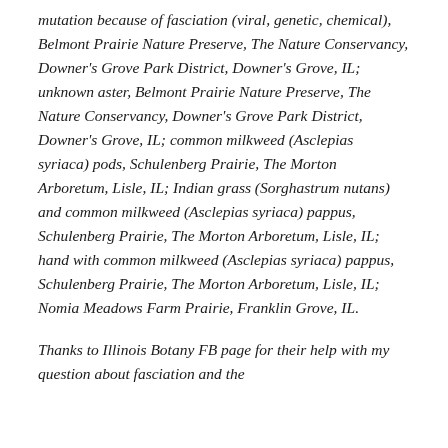mutation because of fasciation (viral, genetic, chemical), Belmont Prairie Nature Preserve, The Nature Conservancy, Downer's Grove Park District, Downer's Grove, IL; unknown aster, Belmont Prairie Nature Preserve, The Nature Conservancy, Downer's Grove Park District, Downer's Grove, IL; common milkweed (Asclepias syriaca) pods, Schulenberg Prairie, The Morton Arboretum, Lisle, IL; Indian grass (Sorghastrum nutans) and common milkweed (Asclepias syriaca) pappus, Schulenberg Prairie, The Morton Arboretum, Lisle, IL; hand with common milkweed (Asclepias syriaca) pappus, Schulenberg Prairie, The Morton Arboretum, Lisle, IL; Nomia Meadows Farm Prairie, Franklin Grove, IL.
Thanks to Illinois Botany FB page for their help with my question about fasciation and the